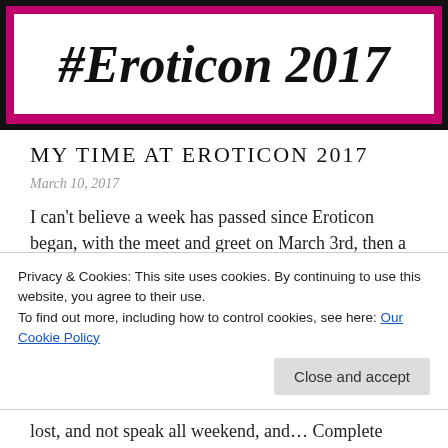[Figure (illustration): Banner image with decorative border showing '#Eroticon 2017' in italic serif font on white background with pink/magenta and black border.]
MY TIME AT EROTICON 2017
March 10, 2017
I can't believe a week has passed since Eroticon began, with the meet and greet on March 3rd, then a whole weekend of brilliance over the 4th and 5th. It's about time I recovered from my time away (admittedly, it was slightly extended beyond
Privacy & Cookies: This site uses cookies. By continuing to use this website, you agree to their use.
To find out more, including how to control cookies, see here: Our Cookie Policy
lost, and not speak all weekend, and... Complete